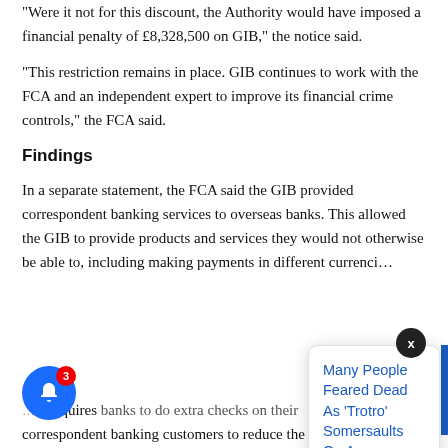“Were it not for this discount, the Authority would have imposed a financial penalty of £8,328,500 on GIB,” the notice said.
“This restriction remains in place. GIB continues to work with the FCA and an independent expert to improve its financial crime controls,” the FCA said.
Findings
In a separate statement, the FCA said the GIB provided correspondent banking services to overseas banks. This allowed the GIB to provide products and services they would not otherwise be able to, including making payments in different currenci…
[Figure (screenshot): Popup notification card showing headline 'Many People Feared Dead As ‘Trotro’ Somersaults On Accra-' with timestamp '7 hours ago'. A dark close button with 'x' appears top right. A blue right border bar is visible. A blue notification bell icon with red badge showing '3' is in the bottom left.]
…A requires banks to do extra checks on their correspondent banking customers to reduce the higher risk of